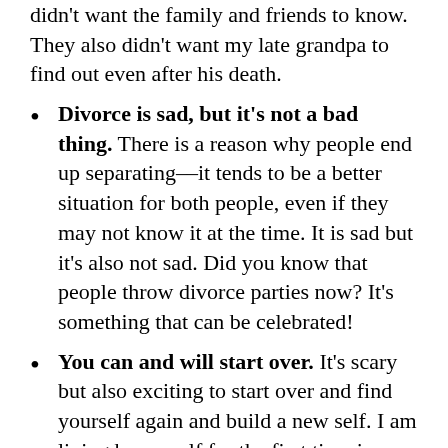didn't want the family and friends to know. They also didn't want my late grandpa to find out even after his death.
Divorce is sad, but it's not a bad thing. There is a reason why people end up separating––it tends to be a better situation for both people, even if they may not know it at the time. It is sad but it's also not sad. Did you know that people throw divorce parties now? It's something that can be celebrated!
You can and will start over. It's scary but also exciting to start over and find yourself again and build a new self. I am living by myself for the first time in my entire life. (I went from living at home to having roommates to living with a husband so I had never lived on my own.) I love it. I love that I can decorate the place the way I want it and